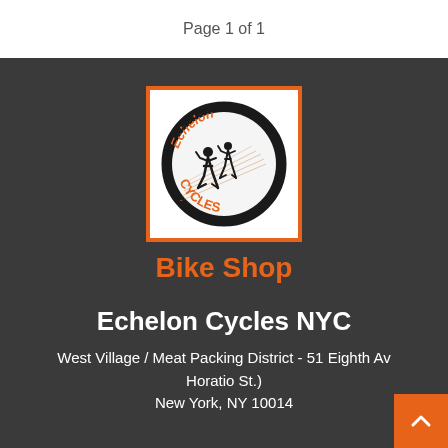Page 1 of 1
[Figure (logo): Echelon Cycles logo: circular badge with two cyclist silhouettes on a velodrome track, text 'Echelon' arched on top and 'Cycles' on bottom in orange and black, white background with orange border square frame]
Bike Shop
Echelon Cycles NYC
West Village / Meat Packing District - 51 Eighth Av Horatio St.)
New York, NY 10014